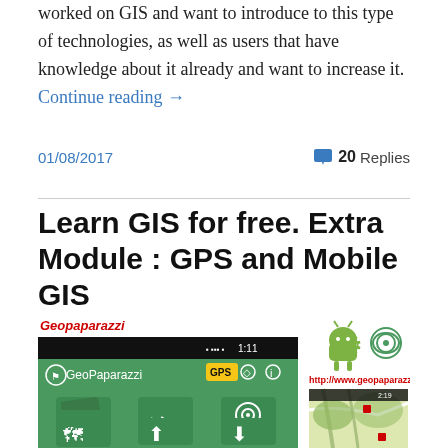This course is recommended to everyone who hasn't worked on GIS and want to introduce to this type of technologies, as well as users that have knowledge about it already and want to increase it. Continue reading →
01/08/2017
20 Replies
Learn GIS for free. Extra Module : GPS and Mobile GIS
[Figure (screenshot): Geopaparazzi app screenshot showing the mobile GIS application interface with GPS navigation icons on a green background, plus Android and wifi icons, website URL http://www.geopaparazzi.eu, and a map view screenshot]